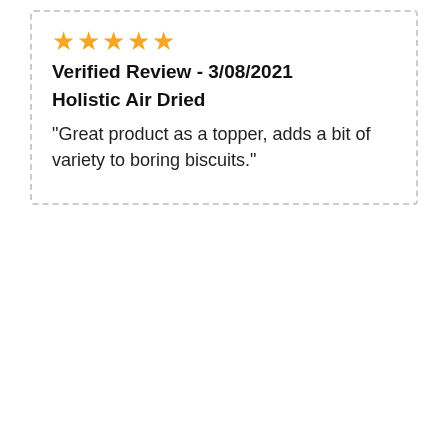★★★★★
Verified Review - 3/08/2021
Holistic Air Dried
"Great product as a topper, adds a bit of variety to boring biscuits."
| Pros | Cons |
| --- | --- |
| High in fat and proteins for extra energy | Rather pricey |
| Contains green lipped | List Element |